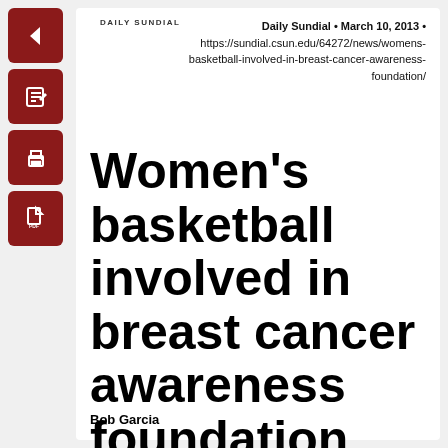Daily Sundial • March 10, 2013 • https://sundial.csun.edu/64272/news/womens-basketball-involved-in-breast-cancer-awareness-foundation/
Women's basketball involved in breast cancer awareness foundation
Bob Garcia